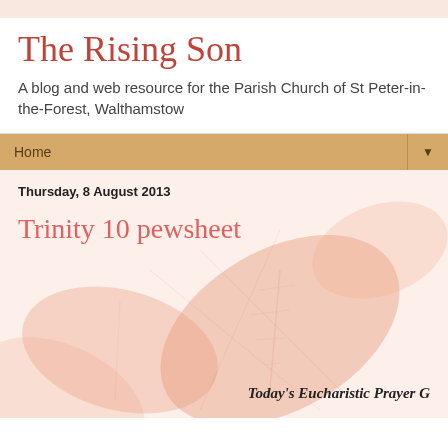The Rising Son
A blog and web resource for the Parish Church of St Peter-in-the-Forest, Walthamstow
Home
Thursday, 8 August 2013
Trinity 10 pewsheet
Today's Eucharistic Prayer G